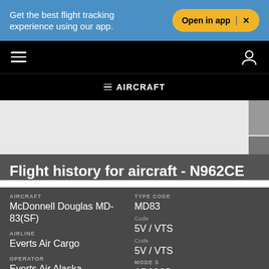Get the best flight tracking experience using our app.
Open in app | X
≡ AIRCRAFT
[Figure (screenshot): Map area placeholder with grey sidebar controls]
Flight history for aircraft - N962CE
| Field | Label | Value |
| --- | --- | --- |
| AIRCRAFT |  | McDonnell Douglas MD-83(SF) |
| TYPE CODE |  | MD83 |
| AIRLINE | Code | Everts Air Cargo |
|  | Code | 5V / VTS |
| OPERATOR | Code | Everts Air Alaska |
|  | Code | 5V / VTS |
|  | MODE S | AD63CB |